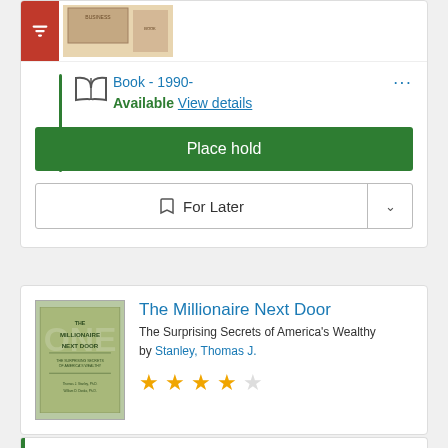[Figure (screenshot): Top portion of a library catalog card showing a book thumbnail image and red filter button]
Book - 1990-
Available View details
Place hold
For Later
The Millionaire Next Door
The Surprising Secrets of America's Wealthy
by Stanley, Thomas J.
[Figure (illustration): Book cover of The Millionaire Next Door with green background]
★★★★☆ (4 out of 5 stars)